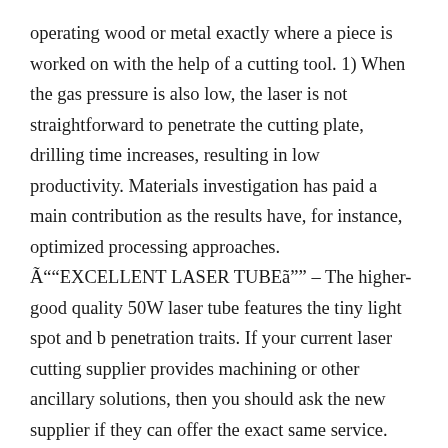operating wood or metal exactly where a piece is worked on with the help of a cutting tool. 1) When the gas pressure is also low, the laser is not straightforward to penetrate the cutting plate, drilling time increases, resulting in low productivity. Materials investigation has paid a main contribution as the results have, for instance, optimized processing approaches. Ã““EXCELLENT LASER TUBEã”” – The higher-good quality 50W laser tube features the tiny light spot and b penetration traits. If your current laser cutting supplier provides machining or other ancillary solutions, then you should ask the new supplier if they can offer the exact same service. Stroke at each ends of the limit switch manage, supplemented by each sides of the elastic cushion, effectively ensuring the security of laser